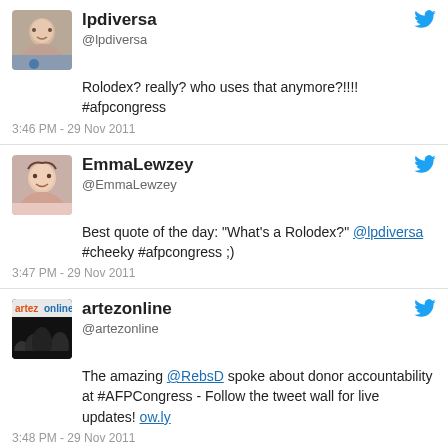[Figure (screenshot): Tweet from lpdiversa with profile photo of a young woman]
lpdiversa
@lpdiversa
Rolodex? really? who uses that anymore?!!!! #afpcongress
3:46 PM - 29 Nov 2011
[Figure (screenshot): Tweet from EmmaLewzey with profile photo of a smiling woman]
EmmaLewzey
@EmmaLewzey
Best quote of the day: "What's a Rolodex?" @lpdiversa #cheeky #afpcongress ;)
3:47 PM - 29 Nov 2011
[Figure (screenshot): Tweet from artezonline with logo showing crowd silhouette]
artezonline
@artezonline
The amazing @RebsD spoke about donor accountability at #AFPCongress - Follow the tweet wall for live updates! ow.ly
3:48 PM - 29 Nov 2011